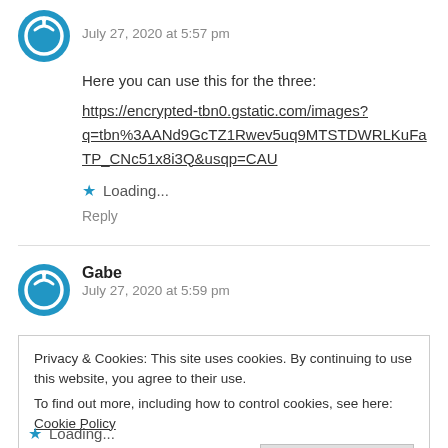July 27, 2020 at 5:57 pm
Here you can use this for the three:
https://encrypted-tbn0.gstatic.com/images?q=tbn%3AANd9GcTZ1Rwev5uq9MTSTDWRLKuFaTP_CNc51x8i3Q&usqp=CAU
Loading...
Reply
Gabe
July 27, 2020 at 5:59 pm
Privacy & Cookies: This site uses cookies. By continuing to use this website, you agree to their use. To find out more, including how to control cookies, see here: Cookie Policy
Close and accept
Loading...